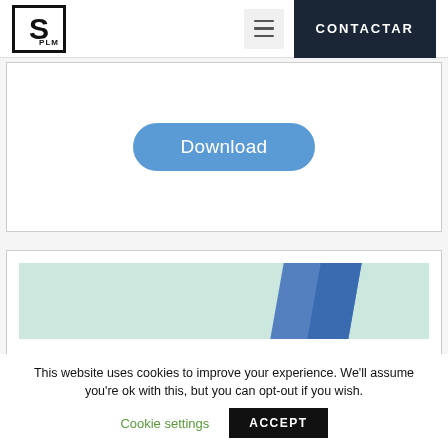[Figure (logo): S PLM logo — large bold S inside a square border with PLM text at bottom right]
[Figure (screenshot): Hamburger menu icon (three horizontal lines) on a light gray background]
[Figure (screenshot): Dark navy CONTACTAR button]
[Figure (screenshot): Blue rounded Download button inside a white bordered card]
[Figure (screenshot): Partial card with a light green and blue banner image]
This website uses cookies to improve your experience. We'll assume you're ok with this, but you can opt-out if you wish.
Cookie settings
ACCEPT